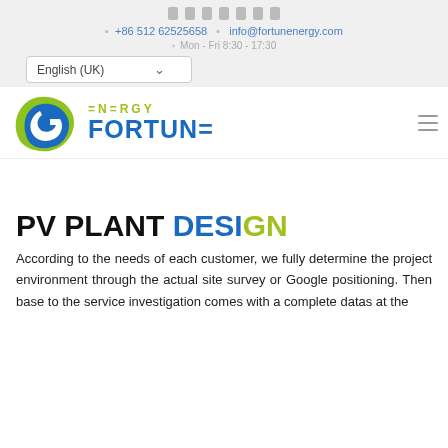social icons row
+86 512 62525658   info@fortunenergy.com
Mon - Fri 8:30 - 17:30
English (UK)
[Figure (logo): Fortune Energy company logo with green/blue spiral icon and FORTUNE ENERGY text]
PV PLANT DESIGN
According to the needs of each customer, we fully determine the project environment through the actual site survey or Google positioning. Then base to the service investigation comes with a complete datas at the...